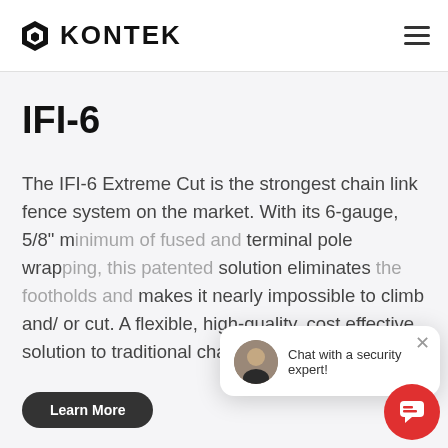KONTEK
IFI-6
The IFI-6 Extreme Cut is the strongest chain link fence system on the market. With its 6-gauge, 5/8" m... terminal pole wrap... solution eliminates... makes it nearly impossible to climb and/ or cut. A flexible, high-quality, cost effective solution to traditional chain link security...
[Figure (screenshot): Chat widget overlay showing a person avatar and the text 'Chat with a security expert!' with a close button, and a red circular chat button below.]